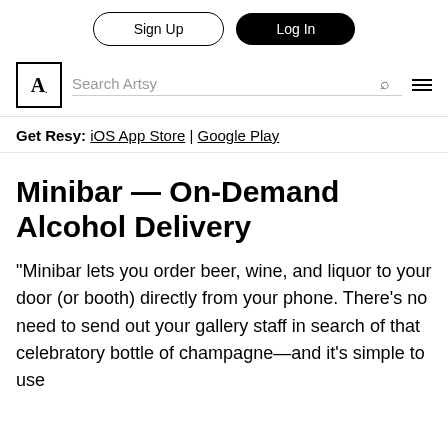Sign Up | Log In
Search Artsy
Get Resy: iOS App Store | Google Play
Minibar — On-Demand Alcohol Delivery
“Minibar lets you order beer, wine, and liquor to your door (or booth) directly from your phone. There's no need to send out your gallery staff in search of that celebratory bottle of champagne—and it's simple to use